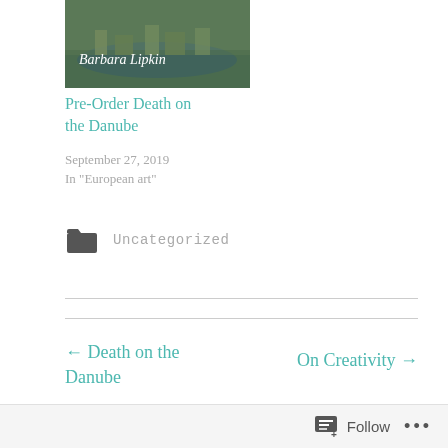[Figure (photo): Book cover thumbnail showing aerial river view with text 'Barbara Lipkin' overlaid in white italic]
Pre-Order Death on the Danube
September 27, 2019
In "European art"
Uncategorized
← Death on the Danube
On Creativity →
Follow ...